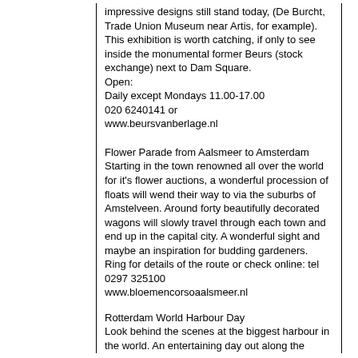impressive designs still stand today, (De Burcht, Trade Union Museum near Artis, for example). This exhibition is worth catching, if only to see inside the monumental former Beurs (stock exchange) next to Dam Square.
Open:
Daily except Mondays 11.00-17.00
020 6240141 or
www.beursvanberlage.nl
Flower Parade from Aalsmeer to Amsterdam
Starting in the town renowned all over the world for it's flower auctions, a wonderful procession of floats will wend their way to via the suburbs of Amstelveen. Around forty beautifully decorated wagons will slowly travel through each town and end up in the capital city. A wonderful sight and maybe an inspiration for budding gardeners.
Ring for details of the route or check online: tel 0297 325100
www.bloemencorsoaalsmeer.nl
Rotterdam World Harbour Day
Look behind the scenes at the biggest harbour in the world. An entertaining day out along the industrial banks of the Maas.